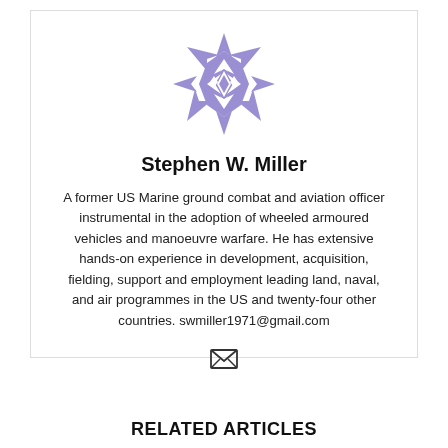[Figure (logo): Purple geometric star/snowflake logo made of triangular shapes]
Stephen W. Miller
A former US Marine ground combat and aviation officer instrumental in the adoption of wheeled armoured vehicles and manoeuvre warfare. He has extensive hands-on experience in development, acquisition, fielding, support and employment leading land, naval, and air programmes in the US and twenty-four other countries. swmiller1971@gmail.com
[Figure (other): Email envelope icon]
RELATED ARTICLES